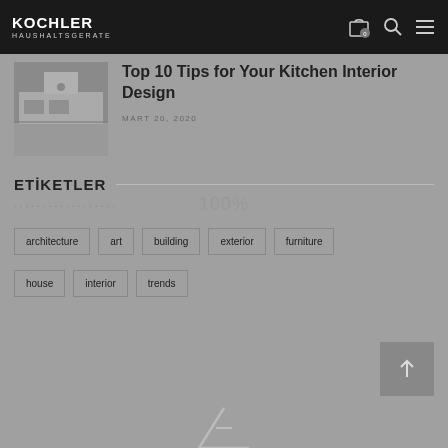KOCHLER HAUSHALTSGERATE
Top 10 Tips for Your Kitchen Interior Design
MART 20, 2020
ETİKETLER
100%
architecture
art
building
exterior
furniture
house
interior
trends